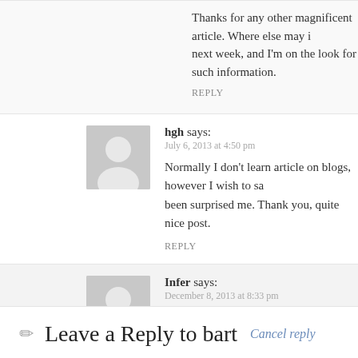Thanks for any other magnificent article. Where else may … next week, and I'm on the look for such information.
REPLY
hgh says:
July 6, 2013 at 4:50 pm
Normally I don't learn article on blogs, however I wish to sa… been surprised me. Thank you, quite nice post.
REPLY
Infer says:
December 8, 2013 at 8:33 pm
Hi, this tab is awesome. Is it possible to do not show any co… shown when page loads, but I dont want to show anything. … Thank you so much!
REPLY
Leave a Reply to bart  Cancel reply